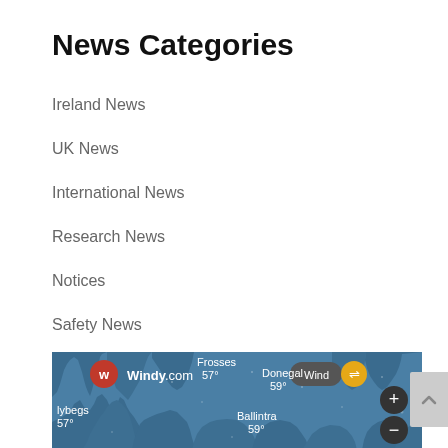News Categories
Ireland News
UK News
International News
Research News
Notices
Safety News
[Figure (map): Windy.com weather map showing wind data for Donegal area in Ireland. Shows locations: Killybegs 57°, Frosses 57°, Donegal 59°, Ballintra 59°. Blue ocean/land map with wind indicator controls.]